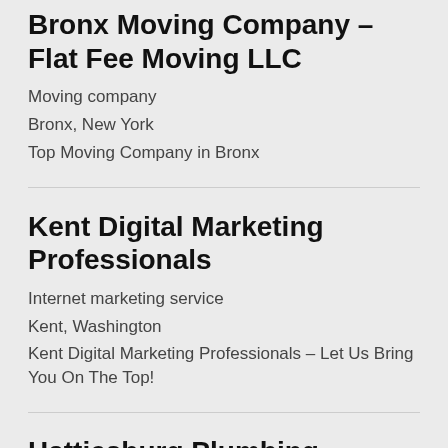Bronx Moving Company – Flat Fee Moving LLC
Moving company
Bronx, New York
Top Moving Company in Bronx
Kent Digital Marketing Professionals
Internet marketing service
Kent, Washington
Kent Digital Marketing Professionals – Let Us Bring You On The Top!
Hattiesburg Plumbing Service